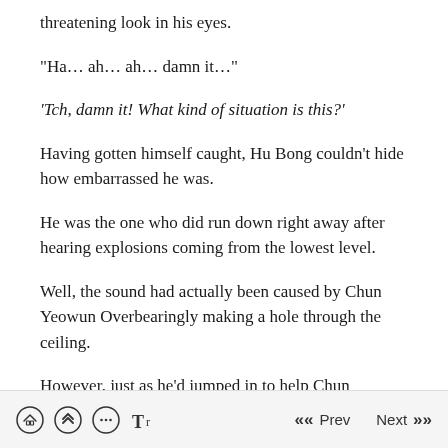threatening look in his eyes.
“Ha… ah… ah… damn it…”
‘Tch, damn it! What kind of situation is this?’
Having gotten himself caught, Hu Bong couldn’t hide how embarrassed he was.
He was the one who did run down right away after hearing explosions coming from the lowest level.
Well, the sound had actually been caused by Chun Yeowun Overbearingly making a hole through the ceiling.
However, just as he’d jumped in to help Chun
Prev  Next